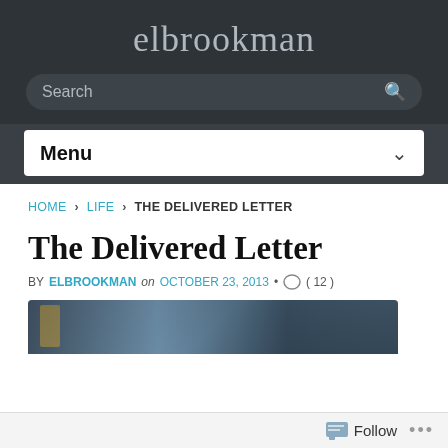elbrookman
Search
Menu
HOME › LIFE › THE DELIVERED LETTER
The Delivered Letter
BY ELBROOKMAN on OCTOBER 23, 2013 • ( 12 )
[Figure (photo): Partial view of an article image showing a dark blue-gray scene with a golden/bronze object on the left]
Follow ...